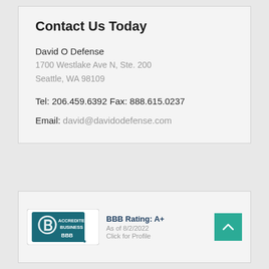Contact Us Today
David O Defense
1700 Westlake Ave N, Ste. 200
Seattle, WA 98109
Tel: 206.459.6392
Fax: 888.615.0237
Email: david@davidodefense.com
[Figure (logo): BBB Accredited Business seal with teal background showing stylized B logo and text ACCREDITED BUSINESS BBB]
BBB Rating: A+
As of 8/2/2022
Click for Profile